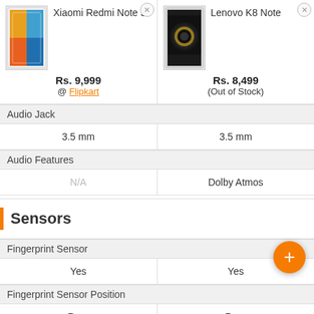| Xiaomi Redmi Note 5 | Lenovo K8 Note |
| --- | --- |
| Rs. 9,999 @ Flipkart | Rs. 8,499 (Out of Stock) |
| Audio Jack |  |
| 3.5 mm | 3.5 mm |
| Audio Features |  |
| N/A | Dolby Atmos |
Sensors
| Fingerprint Sensor |  |
| --- | --- |
| Yes | Yes |
| Fingerprint Sensor Position |  |
| Rear | Rear |
| Other Sensors |  |